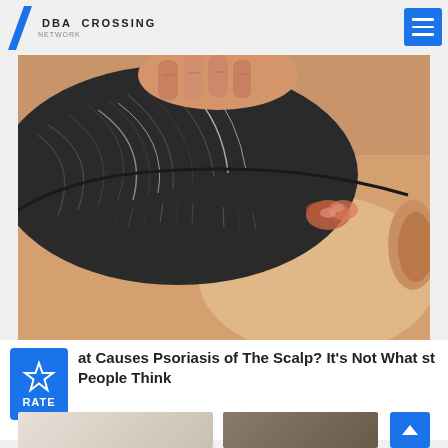DBA CROSSING
[Figure (photo): Close-up photo of a person's scalp and neck area showing psoriasis skin condition, with a hand touching the hair near the affected area. Gray/dark hair visible, skin inflammation and scaling on the neck/scalp border.]
at Causes Psoriasis of The Scalp? It's Not What st People Think
Psoriasis | Search Ads
[Figure (photo): Two partial images at the bottom of the page, partially cut off — left shows light-colored clothing, right shows a person's arm/wrist area]